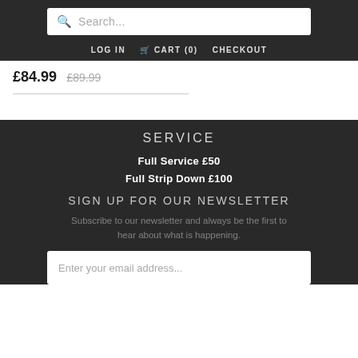Search... | LOG IN | CART (0) | CHECKOUT
£84.99  £89.99
SERVICE
Full Service £50
Full Strip Down £100
SIGN UP FOR OUR NEWSLETTER
Subscribe to our newsletter and always be the first to hear about what is happening.
Enter your email address...